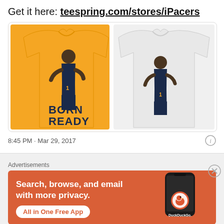Get it here: teespring.com/stores/iPacers
[Figure (photo): Two t-shirts side by side: left is gold/yellow with an illustration of a basketball player wearing #1 jersey and text 'BORN READY' in navy blue; right is grey/white with the same basketball player illustration.]
8:45 PM · Mar 29, 2017
Advertisements
[Figure (screenshot): DuckDuckGo advertisement banner with orange background. Text reads 'Search, browse, and email with more privacy.' and 'All in One Free App'. Shows a smartphone with DuckDuckGo app and logo.]